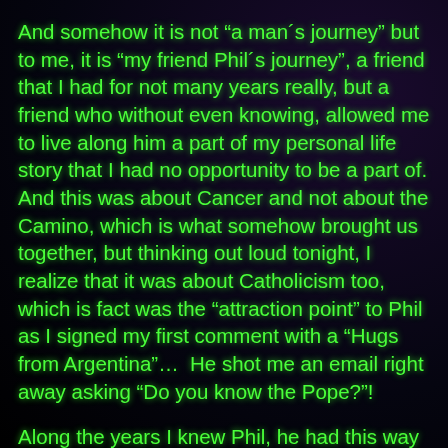And somehow it is not “a man´s journey” but to me, it is “my friend Phil´s journey”, a friend that I had for not many years really, but a friend who without even knowing, allowed me to live along him a part of my personal life story that I had no opportunity to be a part of. And this was about Cancer and not about the Camino, which is what somehow brought us together, but thinking out loud tonight, I realize that it was about Catholicism too, which is fact was the “attraction point” to Phil as I signed my first comment with a “Hugs from Argentina”…  He shot me an email right away asking “Do you know the Pope?”!
Along the years I knew Phil, he had this way of bringing up topics that had some sort of “trigger” for things I had not wanted to think about, or that I had